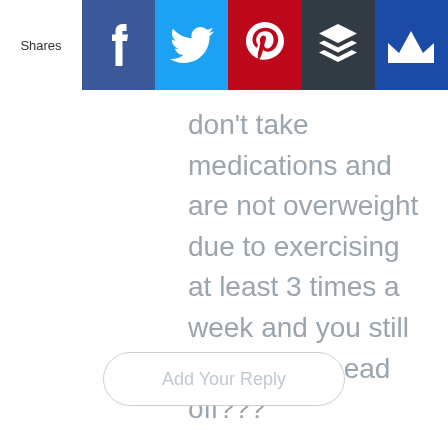[Figure (screenshot): Social share bar with Facebook, Twitter, Pinterest, Buffer, and Misfit icons. Label 'Shares' on the left.]
don't take medications and are not overweight due to exercising at least 3 times a week and you still snore your head off???
→ Reply
Add Your Reply